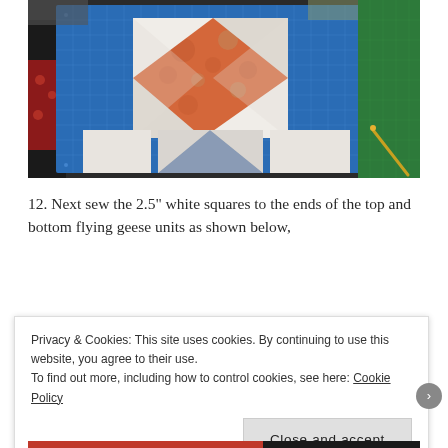[Figure (photo): A quilting work-in-progress photo showing fabric pieces arranged on a blue cutting mat. The center shows a star/pinwheel block with orange floral fabric and white triangles, surrounded by additional squares. A green cutting mat and seam ripper are visible in the background.]
12. Next sew the 2.5" white squares to the ends of the top and bottom flying geese units as shown below,
Privacy & Cookies: This site uses cookies. By continuing to use this website, you agree to their use.
To find out more, including how to control cookies, see here: Cookie Policy
Close and accept